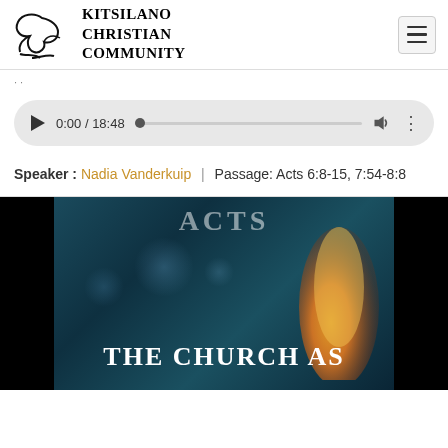Kitsilano Christian Community
0:00 / 18:48
Speaker : Nadia Vanderkuip | Passage: Acts 6:8-15, 7:54-8:8
[Figure (photo): Book or sermon series cover showing 'THE CHURCH AS' text over a teal/blue bokeh background with orange flame, with partial 'ACTS' text at top. Black bars on left and right sides.]